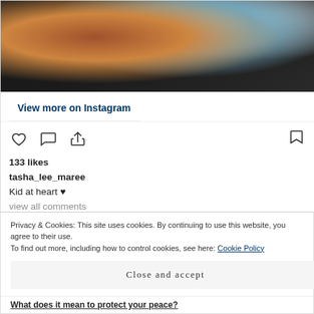[Figure (photo): Partial Instagram post showing a knitted/crocheted garment in brown/orange and blue colors against dark background]
View more on Instagram
133 likes
tasha_lee_maree
Kid at heart ♥
view all comments
Add a comment...
Privacy & Cookies: This site uses cookies. By continuing to use this website, you agree to their use.
To find out more, including how to control cookies, see here: Cookie Policy
Close and accept
What does it mean to protect your peace?